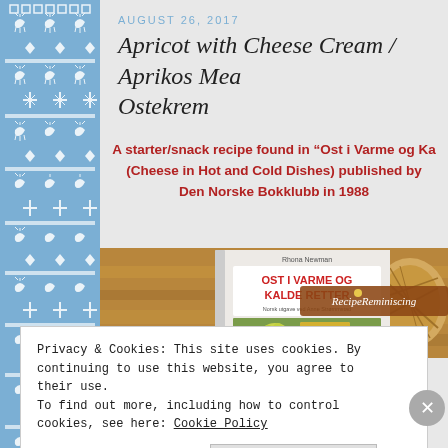AUGUST 26, 2017
Apricot with Cheese Cream / Aprikos Med Ostekrem
A starter/snack recipe found in “Ost i Varme og Ka… (Cheese in Hot and Cold Dishes) published by Den Norske Bokklubb in 1988
[Figure (photo): Book cover of 'Ost i Varme og Kalde Retter' by Rhona Newman with RecipeReminiscing logo overlay, and a wicker basket in background]
Privacy & Cookies: This site uses cookies. By continuing to use this website, you agree to their use.
To find out more, including how to control cookies, see here: Cookie Policy
Close and accept